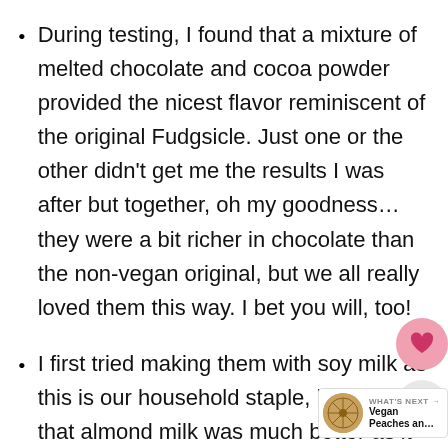During testing, I found that a mixture of melted chocolate and cocoa powder provided the nicest flavor reminiscent of the original Fudgsicle. Just one or the other didn't get me the results I was after but together, oh my goodness…they were a bit richer in chocolate than the non-vegan original, but we all really loved them this way. I bet you will, too!
I first tried making them with soy milk as this is our household staple, but I found that almond milk was much better as it has a milder flavor. If almond milk is not an option for you, I wou try rice milk although I didn't test this with it (I will soon and will update this, then). Also, I am itching to try hazelnut milk in